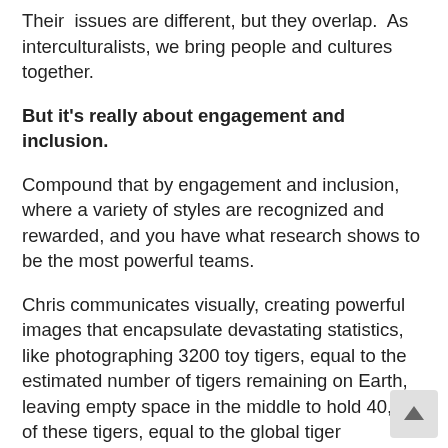Their issues are different, but they overlap. As interculturalists, we bring people and cultures together.
But it's really about engagement and inclusion.
Compound that by engagement and inclusion, where a variety of styles are recognized and rewarded, and you have what research shows to be the most powerful teams.
Chris communicates visually, creating powerful images that encapsulate devastating statistics, like photographing 3200 toy tigers, equal to the estimated number of tigers remaining on Earth, leaving empty space in the middle to hold 40,000 of these tigers, equal to the global tiger